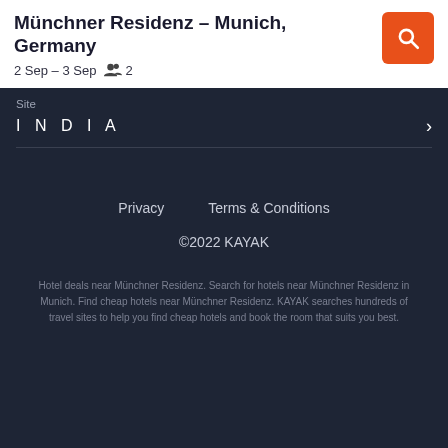Münchner Residenz – Munich, Germany
2 Sep – 3 Sep   👥 2
Site
I N D I A
Privacy    Terms & Conditions
©2022 KAYAK
Hotel deals near Münchner Residenz. Search for hotels near Münchner Residenz in Munich. Find cheap hotels near Münchner Residenz. KAYAK searches hundreds of travel sites to help you find cheap hotels and book the room that suits you best.